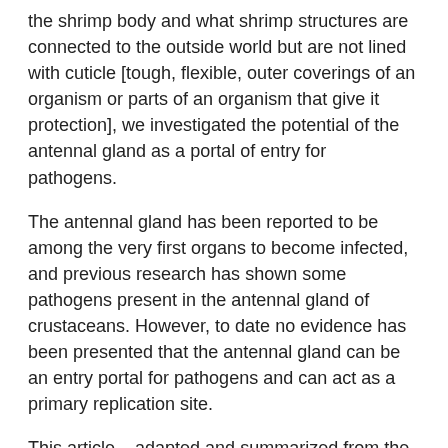the shrimp body and what shrimp structures are connected to the outside world but are not lined with cuticle [tough, flexible, outer coverings of an organism or parts of an organism that give it protection], we investigated the potential of the antennal gland as a portal of entry for pathogens.
The antennal gland has been reported to be among the very first organs to become infected, and previous research has shown some pathogens present in the antennal gland of crustaceans. However, to date no evidence has been presented that the antennal gland can be an entry portal for pathogens and can act as a primary replication site.
This article – adapted and summarized from the original publication (De Gryse, G.M.A. et al. 2020. The shrimp nephrocomplex serves as a major portal of pathogen entry and is involved in the molting process) – reports on an